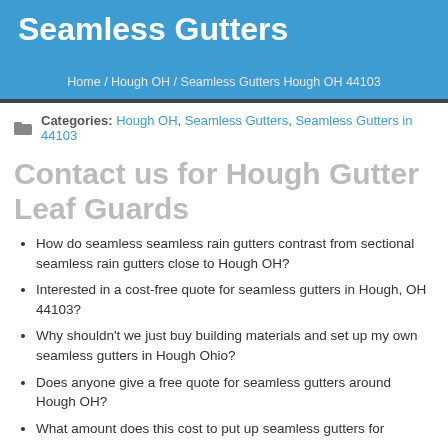Seamless Gutters
Home / Hough OH / Seamless Gutters Hough OH 44103
Categories: Hough OH, Seamless Gutters, Seamless Gutters in 44103
Contact us for Hough Gutter Leaf Guards
How do seamless seamless rain gutters contrast from sectional seamless rain gutters close to Hough OH?
Interested in a cost-free quote for seamless gutters in Hough, OH 44103?
Why shouldn't we just buy building materials and set up my own seamless gutters in Hough Ohio?
Does anyone give a free quote for seamless gutters around Hough OH?
What amount does this cost to put up seamless gutters for